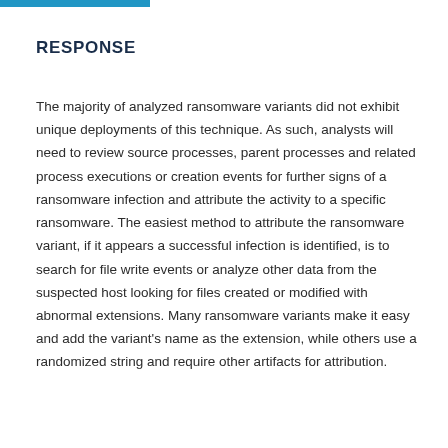RESPONSE
The majority of analyzed ransomware variants did not exhibit unique deployments of this technique. As such, analysts will need to review source processes, parent processes and related process executions or creation events for further signs of a ransomware infection and attribute the activity to a specific ransomware. The easiest method to attribute the ransomware variant, if it appears a successful infection is identified, is to search for file write events or analyze other data from the suspected host looking for files created or modified with abnormal extensions. Many ransomware variants make it easy and add the variant's name as the extension, while others use a randomized string and require other artifacts for attribution.